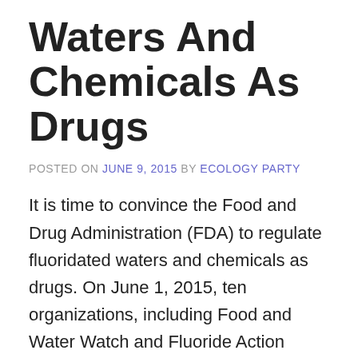Waters And Chemicals As Drugs
POSTED ON JUNE 9, 2015 BY ECOLOGY PARTY
It is time to convince the Food and Drug Administration (FDA) to regulate fluoridated waters and chemicals as drugs.  On June 1, 2015, ten organizations, including Food and Water Watch and Fluoride Action Network, joined together to submit a Petition to FDA requesting adoption of a regulation that would make these waters and chemicals both drugs regulated by FDA to ensure that they are safe and effective.  The Petition was assigned docket number FDA-2015-P-1977 and FDA is accepting your comments in support